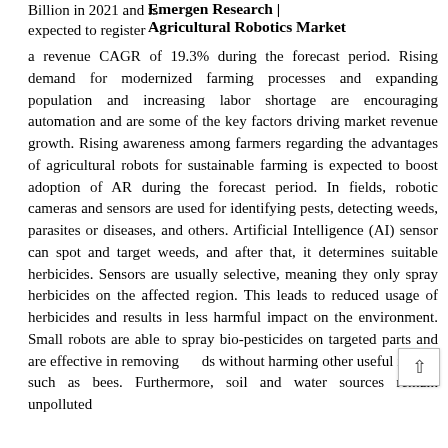Emergen Research | Agricultural Robotics Market
Billion in 2021 and is expected to register a revenue CAGR of 19.3% during the forecast period. Rising demand for modernized farming processes and expanding population and increasing labor shortage are encouraging automation and are some of the key factors driving market revenue growth. Rising awareness among farmers regarding the advantages of agricultural robots for sustainable farming is expected to boost adoption of AR during the forecast period. In fields, robotic cameras and sensors are used for identifying pests, detecting weeds, parasites or diseases, and others. Artificial Intelligence (AI) sensor can spot and target weeds, and after that, it determines suitable herbicides. Sensors are usually selective, meaning they only spray herbicides on the affected region. This leads to reduced usage of herbicides and results in less harmful impact on the environment. Small robots are able to spray bio-pesticides on targeted parts and are effective in removing weeds without harming other useful insects such as bees. Furthermore, soil and water sources remain unpolluted